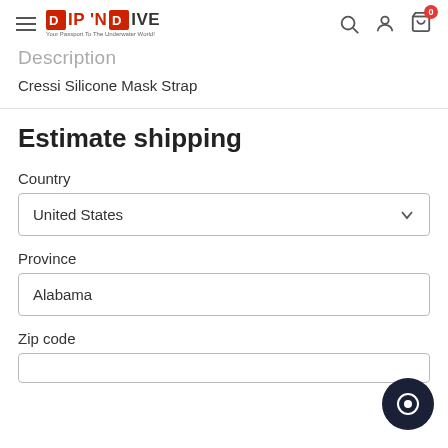DIP 'N DIVE — Your Passport To The Underwater World
Description
Cressi Silicone Mask Strap
Estimate shipping
Country
United States
Province
Alabama
Zip code